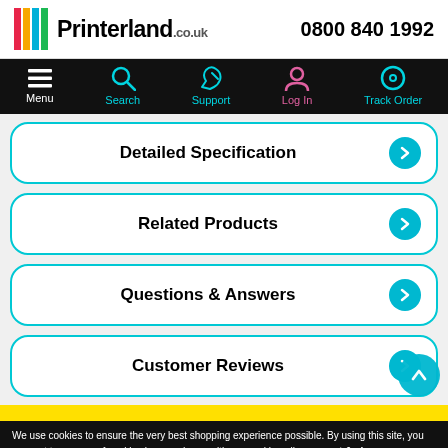Printerland.co.uk — 0800 840 1992
[Figure (screenshot): Navigation bar with Menu, Search, Support, Log In, Track Order icons on black background]
Detailed Specification
Related Products
Questions & Answers
Customer Reviews
We use cookies to ensure the very best shopping experience possible. By using this site, you consent to our use of cookies in accordance with our cookie policy   accept & close